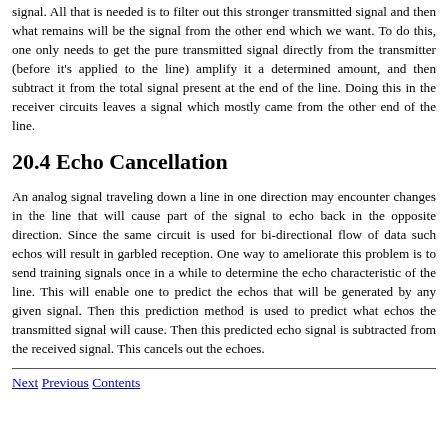signal. All that is needed is to filter out this stronger transmitted signal and then what remains will be the signal from the other end which we want. To do this, one only needs to get the pure transmitted signal directly from the transmitter (before it's applied to the line) amplify it a determined amount, and then subtract it from the total signal present at the end of the line. Doing this in the receiver circuits leaves a signal which mostly came from the other end of the line.
20.4 Echo Cancellation
An analog signal traveling down a line in one direction may encounter changes in the line that will cause part of the signal to echo back in the opposite direction. Since the same circuit is used for bi-directional flow of data such echos will result in garbled reception. One way to ameliorate this problem is to send training signals once in a while to determine the echo characteristic of the line. This will enable one to predict the echos that will be generated by any given signal. Then this prediction method is used to predict what echos the transmitted signal will cause. Then this predicted echo signal is subtracted from the received signal. This cancels out the echoes.
Next Previous Contents